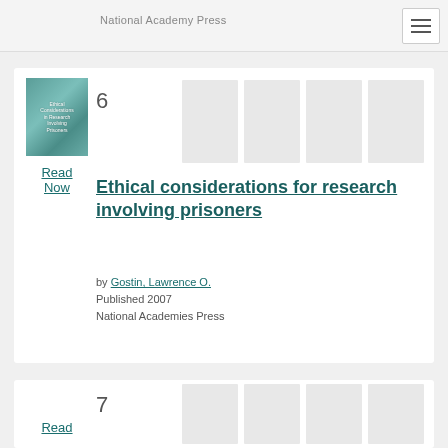National Academy Press
6
[Figure (photo): Book cover for 'Ethical considerations for research involving prisoners' — teal/green colored cover]
Read Now
Ethical considerations for research involving prisoners
by Gostin, Lawrence O.
Published 2007
National Academies Press
7
Read